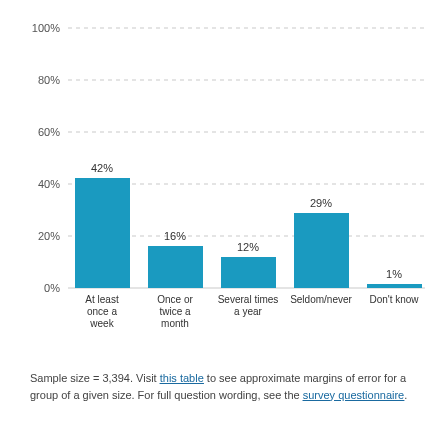[Figure (bar-chart): ]
Sample size = 3,394. Visit this table to see approximate margins of error for a group of a given size. For full question wording, see the survey questionnaire.